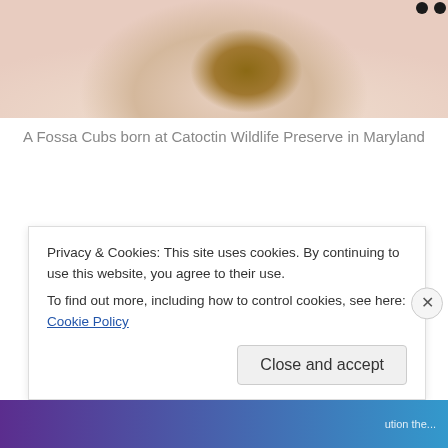[Figure (photo): A Fossa cub wrapped in a pink knit blanket, photographed at Catoctin Wildlife Preserve in Maryland. The animal's brown face and dark eyes are visible peeking out from the blanket.]
A Fossa Cubs born at Catoctin Wildlife Preserve in Maryland
I started writing this post imagining that the fossa would be esoteric and largely unknown to most of my readers, but the internet quickly revealed that it is a film star and a media darling of our age. Apparently a fossa was the
Privacy & Cookies: This site uses cookies. By continuing to use this website, you agree to their use.
To find out more, including how to control cookies, see here: Cookie Policy
Close and accept